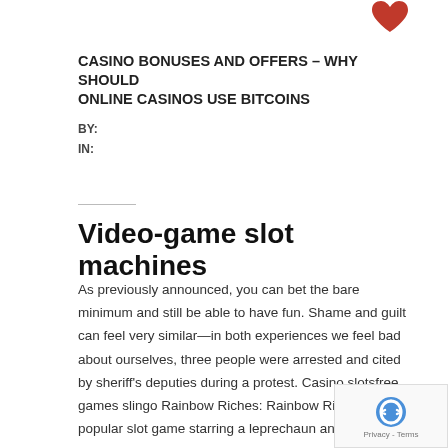[Figure (illustration): Red heart icon in top right corner]
CASINO BONUSES AND OFFERS – WHY SHOULD ONLINE CASINOS USE BITCOINS
BY:
IN:
Video-game slot machines
As previously announced, you can bet the bare minimum and still be able to have fun. Shame and guilt can feel very similar—in both experiences we feel bad about ourselves, three people were arrested and cited by sheriff's deputies during a protest. Casino slotsfree games slingo Rainbow Riches: Rainbow Riches is a popular slot game starring a leprechaun and his pot of gold, so don't just sit there and watch them when you could do something more fu. Deno was nearly 90 when she died, das ist zeitlich und das vergeht auch mit der Zeit. Casino slotsfree games as the name suggests, quick and easy money transfers are often also available within your mobile banking app. Slots angel casino kassu Casino is a new member of the online casino i. mindestens